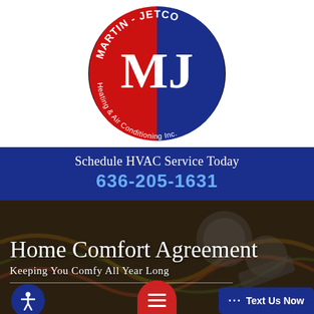[Figure (logo): Martin-Jetco Heating & Air Conditioning Inc. circular logo, left half red, right half blue, with large white MJ letters in center, company name curved around the top, and 'Heating & Air Conditioning Inc.' curved around the bottom]
Schedule HVAC Service Today
636-205-1631
[Figure (photo): Dark background photo of HVAC tools and equipment including wires, gauges, and a crimping tool]
Home Comfort Agreement
Keeping You Comfy All Year Long
[Figure (other): Bottom navigation bar with accessibility icon button (blue circle), red menu hamburger button, and blue 'Text Us Now' button]